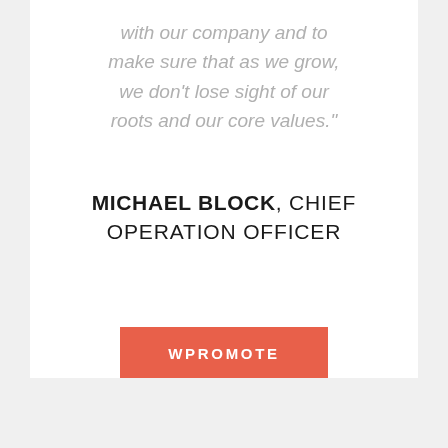with our company and to make sure that as we grow, we don't lose sight of our roots and our core values."
MICHAEL BLOCK, CHIEF OPERATION OFFICER
WPROMOTE